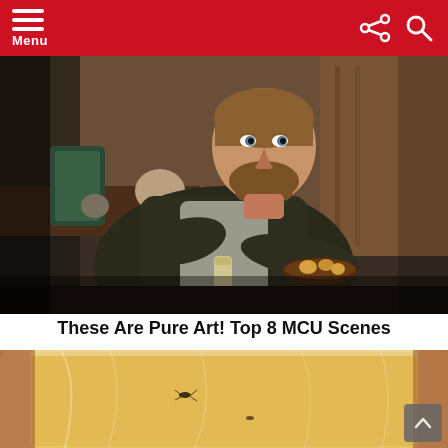Menu
[Figure (photo): A bearded man in a dark jacket and grey shirt sits casually holding a bowl of food with a can on the table, in a home/kitchen setting — likely a scene from an MCU film featuring Thor.]
These Are Pure Art! Top 8 MCU Scenes
[Figure (photo): Close-up of someone holding a clear plastic bag containing a yellow/orange liquid or food item, with an insect visible inside.]